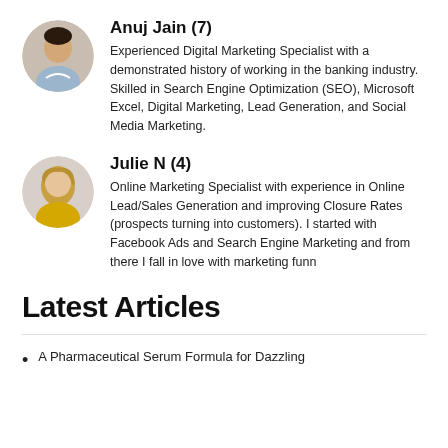[Figure (photo): Round avatar photo of Anuj Jain, a man in a light blue shirt outdoors]
Anuj Jain (7)
Experienced Digital Marketing Specialist with a demonstrated history of working in the banking industry. Skilled in Search Engine Optimization (SEO), Microsoft Excel, Digital Marketing, Lead Generation, and Social Media Marketing.
[Figure (photo): Round avatar photo of Julie N, a woman with long blonde hair wearing a yellow top]
Julie N (4)
Online Marketing Specialist with experience in Online Lead/Sales Generation and improving Closure Rates (prospects turning into customers). I started with Facebook Ads and Search Engine Marketing and from there I fall in love with marketing funn
Latest Articles
A Pharmaceutical Serum Formula for Dazzling